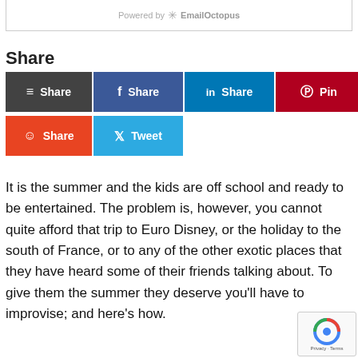[Figure (other): Powered by EmailOctopus widget box bottom portion]
Share
[Figure (other): Social share buttons: Buffer Share, Facebook Share, LinkedIn Share, Pinterest Pin, Reddit Share, Twitter Tweet]
It is the summer and the kids are off school and ready to be entertained. The problem is, however, you cannot quite afford that trip to Euro Disney, or the holiday to the south of France, or to any of the other exotic places that they have heard some of their friends talking about. To give them the summer they deserve you'll have to improvise; and here's how.